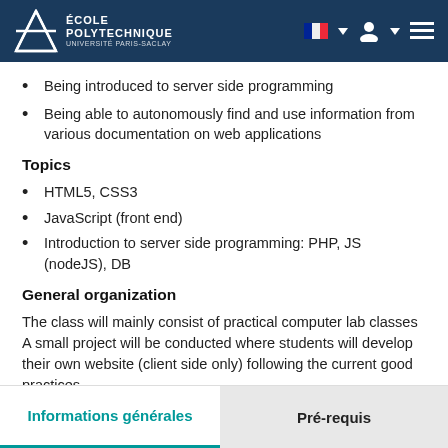École Polytechnique
Being introduced to server side programming
Being able to autonomously find and use information from various documentation on web applications
Topics
HTML5, CSS3
JavaScript (front end)
Introduction to server side programming: PHP, JS (nodeJS), DB
General organization
The class will mainly consist of practical computer lab classes A small project will be conducted where students will develop their own website (client side only) following the current good practices.
Informations générales | Pré-requis